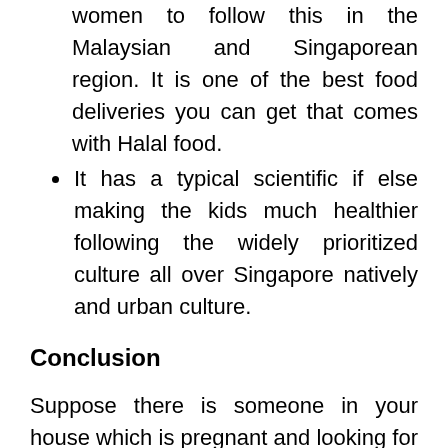women to follow this in the Malaysian and Singaporean region. It is one of the best food deliveries you can get that comes with Halal food.
It has a typical scientific if else making the kids much healthier following the widely prioritized culture all over Singapore natively and urban culture.
Conclusion
Suppose there is someone in your house which is pregnant and looking for confinement food delivery because it cannot be prepared at home. When can indeed look into the options for food delivery getting the best-recommended confinement food delivery. The recommended company is one of the best in its competitors, having the most followers and customers with positive reviews at a much lower price than the